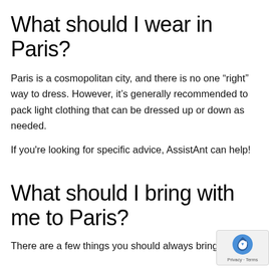What should I wear in Paris?
Paris is a cosmopolitan city, and there is no one “right” way to dress. However, it’s generally recommended to pack light clothing that can be dressed up or down as needed.
If you're looking for specific advice, AssistAnt can help!
What should I bring with me to Paris?
There are a few things you should always bring